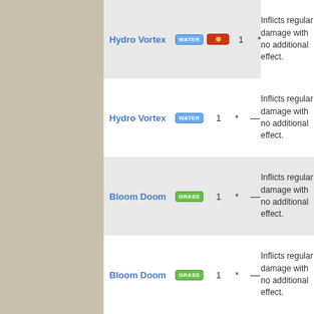| Move | Type | Category | PP | Power | Accuracy | Effect |
| --- | --- | --- | --- | --- | --- | --- |
| Hydro Vortex | WATER | Physical | 1 | * | — | Inflicts regular damage with no additional effect. |
| Hydro Vortex | WATER | Special | 1 | * | — | Inflicts regular damage with no additional effect. |
| Bloom Doom | GRASS | Physical | 1 | * | — | Inflicts regular damage with no additional effect. |
| Bloom Doom | GRASS | Special | 1 | * | — | Inflicts regular damage with no additional effect. |